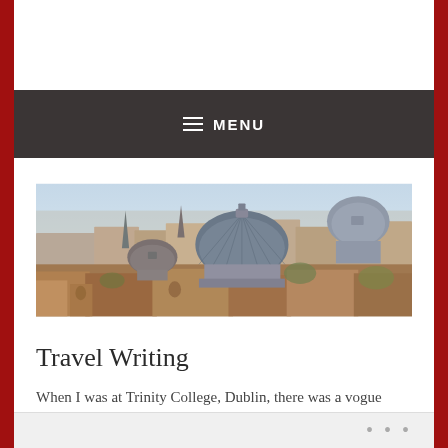MENU
[Figure (photo): Aerial panoramic view of Rome, Italy, showing historic church domes and rooftops with terracotta tiles. The central dome of a large baroque church dominates the skyline.]
Travel Writing
When I was at Trinity College, Dublin, there was a vogue amongst the students for visiting Irish seers or fortune tellers.